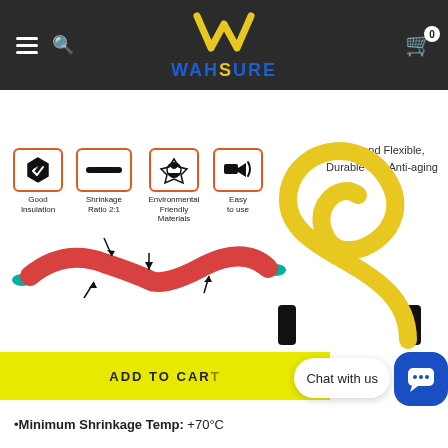WAHSURE — navigation header with logo, hamburger menu, search icon, and cart (0)
[Figure (infographic): Product feature icons: Good Insulation, Shrinkage Ratio 2:1, Environmental Friendly Materials, Easy to use. Heat-shrink tube illustration showing shrinkage. Yellow coiled flexible tube on right with label 'Soft and Flexible, Durable and Anti-aging'.]
Soft and Flexible, Durable and Anti-aging
Good Insulation
Shrinkage Ratio 2:1
Environmental Friendly Materials
Easy to use
ADD TO CART
Chat with us
•Minimum Shrinkage Temp: +70°C